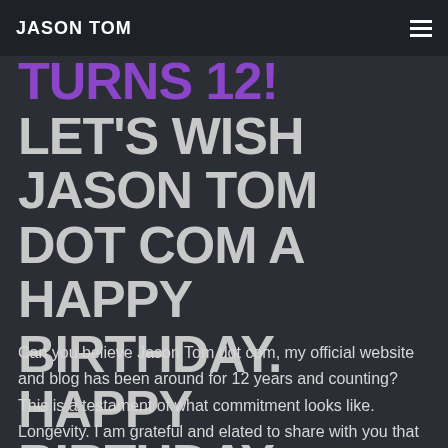JASON TOM
TURNS 12! LET'S WISH JASON TOM DOT COM A HAPPY BIRTHDAY. HAPPY BIRTHDAY JASON TOM DOT COM!
Can you believe Jason Tom dot com, my official website and blog has been around for 12 years and counting? This is a testament of what commitment looks like. Longevity. I am grateful and elated to share with you that JasonTom.com is not stopping on documenting my beatboxing journey.